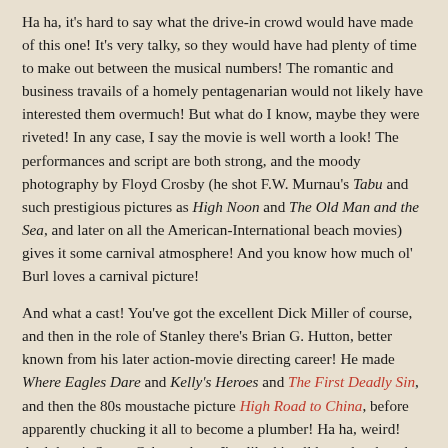Ha ha, it's hard to say what the drive-in crowd would have made of this one! It's very talky, so they would have had plenty of time to make out between the musical numbers! The romantic and business travails of a homely pentagenarian would not likely have interested them overmuch! But what do I know, maybe they were riveted! In any case, I say the movie is well worth a look! The performances and script are both strong, and the moody photography by Floyd Crosby (he shot F.W. Murnau's Tabu and such prestigious pictures as High Noon and The Old Man and the Sea, and later on all the American-International beach movies) gives it some carnival atmosphere! And you know how much ol' Burl loves a carnival picture!
And what a cast! You've got the excellent Dick Miller of course, and then in the role of Stanley there's Brian G. Hutton, better known from his later action-movie directing career! He made Where Eagles Dare and Kelly's Heroes and The First Deadly Sin, and then the 80s moustache picture High Road to China, before apparently chucking it all to become a plumber! Ha ha, weird! And there's Susan Cabot, whom I've liked in all her roles, but she had a troubled life and came to a sticky end when her dwarf son clubbed her to death with a barbell while she was sleeping one